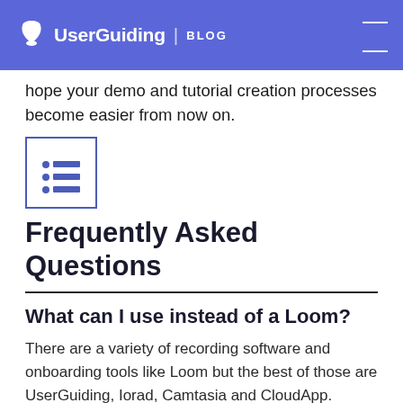UserGuiding | BLOG
hope your demo and tutorial creation processes become easier from now on.
[Figure (other): Table of contents icon — a bordered square with three bullet-list rows]
Frequently Asked Questions
What can I use instead of a Loom?
There are a variety of recording software and onboarding tools like Loom but the best of those are UserGuiding, Iorad, Camtasia and CloudApp.